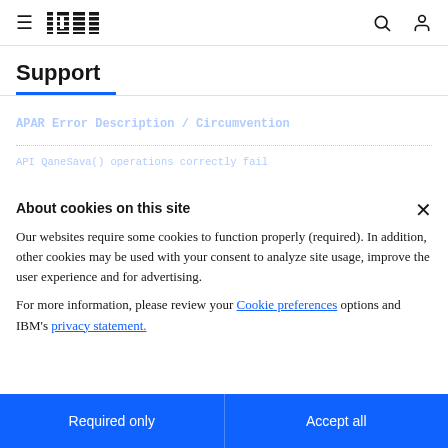≡  IBM  🔍  👤
Support
APAR Error Description / Circumvention (background, partially obscured)
About cookies on this site
Our websites require some cookies to function properly (required). In addition, other cookies may be used with your consent to analyze site usage, improve the user experience and for advertising.
For more information, please review your Cookie preferences options and IBM's privacy statement.
Required only
Accept all